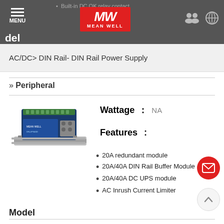MENU | MW MEAN WELL
Built-in DC OK relay contact
del
AC/DC> DIN Rail- DIN Rail Power Supply
» Peripheral
[Figure (photo): DIN Rail power supply module photo]
Wattage : NA
Features :
20A redundant module
20A/40A DIN Rail Buffer Module
20A/40A DC UPS module
AC Inrush Current Limiter
Model